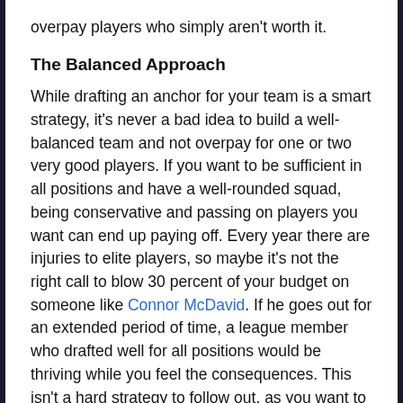overpay players who simply aren't worth it.
The Balanced Approach
While drafting an anchor for your team is a smart strategy, it's never a bad idea to build a well-balanced team and not overpay for one or two very good players. If you want to be sufficient in all positions and have a well-rounded squad, being conservative and passing on players you want can end up paying off. Every year there are injuries to elite players, so maybe it's not the right call to blow 30 percent of your budget on someone like Connor McDavid. If he goes out for an extended period of time, a league member who drafted well for all positions would be thriving while you feel the consequences. This isn't a hard strategy to follow out, as you want to stick to a pre-made budget plan and adjust on the fly as the draft progresses. If you stay rational and don't go out of your